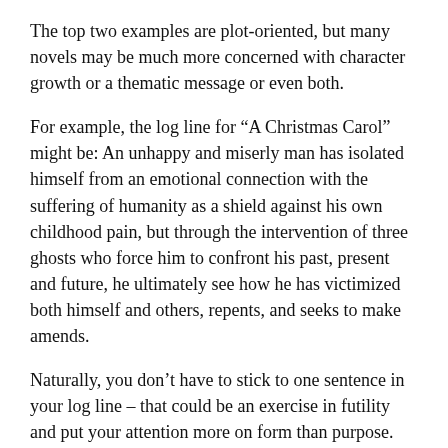The top two examples are plot-oriented, but many novels may be much more concerned with character growth or a thematic message or even both.
For example, the log line for “A Christmas Carol” might be: An unhappy and miserly man has isolated himself from an emotional connection with the suffering of humanity as a shield against his own childhood pain, but through the intervention of three ghosts who force him to confront his past, present and future, he ultimately see how he has victimized both himself and others, repents, and seeks to make amends.
Naturally, you don’t have to stick to one sentence in your log line – that could be an exercise in futility and put your attention more on form than purpose. The point is simply to boil down the heart of your story to its essence with the least possible number of words.
In this manner your collection of potential story elements